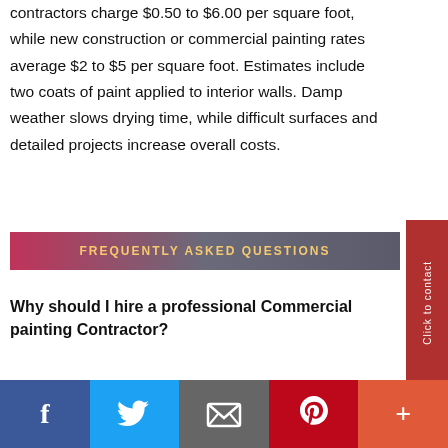contractors charge $0.50 to $6.00 per square foot, while new construction or commercial painting rates average $2 to $5 per square foot. Estimates include two coats of paint applied to interior walls. Damp weather slows drying time, while difficult surfaces and detailed projects increase overall costs.
FREQUENTLY ASKED QUESTIONS
Why should I hire a professional Commercial painting Contractor?
[Figure (infographic): Social media share bar with Facebook, Twitter, Email, Pinterest, and More buttons]